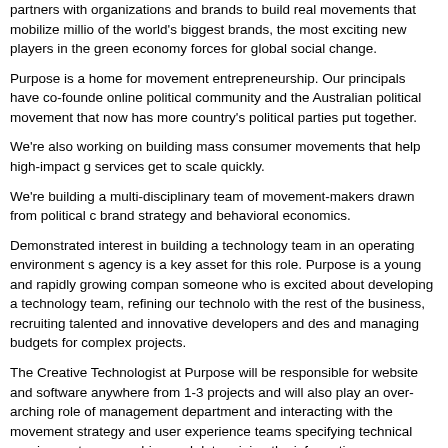partners with organizations and brands to build real movements that mobilize millions of the world's biggest brands, the most exciting new players in the green economy forces for global social change.
Purpose is a home for movement entrepreneurship. Our principals have co-founded online political community and the Australian political movement that now has more country's political parties put together.
We're also working on building mass consumer movements that help high-impact g services get to scale quickly.
We're building a multi-disciplinary team of movement-makers drawn from political c brand strategy and behavioral economics.
Demonstrated interest in building a technology team in an operating environment s agency is a key asset for this role. Purpose is a young and rapidly growing company someone who is excited about developing a technology team, refining our technology with the rest of the business, recruiting talented and innovative developers and designers and managing budgets for complex projects.
The Creative Technologist at Purpose will be responsible for website and software anywhere from 1-3 projects and will also play an over-arching role of management department and interacting with the movement strategy and user experience teams specifying technical requirements, researching and determining the information architecture functionality, locating contractors and managing the outsourcing of projects where the technical timeline and budget, active development, and working with other technology to assist on projects outside your purview.
DUTIES:
Work with the CEO and other members of the senior management team to